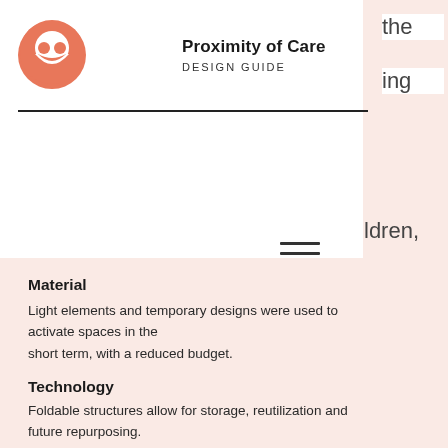Proximity of Care DESIGN GUIDE
the
ing
ldren,
Material
Light elements and temporary designs were used to activate spaces in the short term, with a reduced budget.
Technology
Foldable structures allow for storage, reutilization and future repurposing.